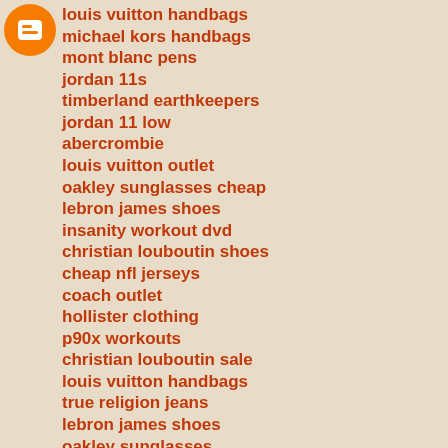[Figure (logo): Blogger orange circle logo with B icon]
louis vuitton handbags
michael kors handbags
mont blanc pens
jordan 11s
timberland earthkeepers
jordan 11 low
abercrombie
louis vuitton outlet
oakley sunglasses cheap
lebron james shoes
insanity workout dvd
christian louboutin shoes
cheap nfl jerseys
coach outlet
hollister clothing
p90x workouts
christian louboutin sale
louis vuitton handbags
true religion jeans
lebron james shoes
oakley sunglasses
coach outlet store online